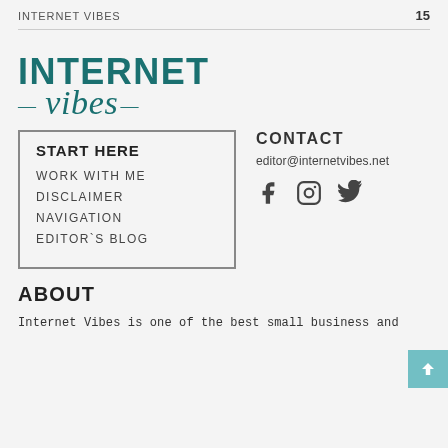INTERNET VIBES  15
[Figure (logo): Internet Vibes logo — INTERNET in bold uppercase teal, vibes in cursive teal with em-dashes]
START HERE
WORK WITH ME
DISCLAIMER
NAVIGATION
EDITOR`S BLOG
CONTACT
editor@internetvibes.net
[Figure (illustration): Facebook, Instagram, and Twitter social media icons]
ABOUT
Internet Vibes is one of the best small business and